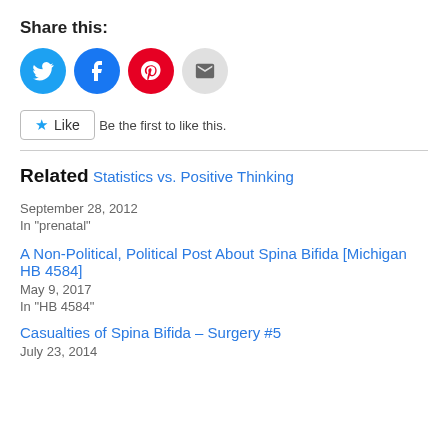Share this:
[Figure (infographic): Four social share buttons: Twitter (blue circle with bird icon), Facebook (blue circle with f icon), Pinterest (red circle with P icon), Email (light gray circle with envelope icon)]
[Figure (infographic): Like button with star icon and text 'Like']
Be the first to like this.
Related
Statistics vs. Positive Thinking
September 28, 2012
In "prenatal"
A Non-Political, Political Post About Spina Bifida [Michigan HB 4584]
May 9, 2017
In "HB 4584"
Casualties of Spina Bifida – Surgery #5
July 23, 2014